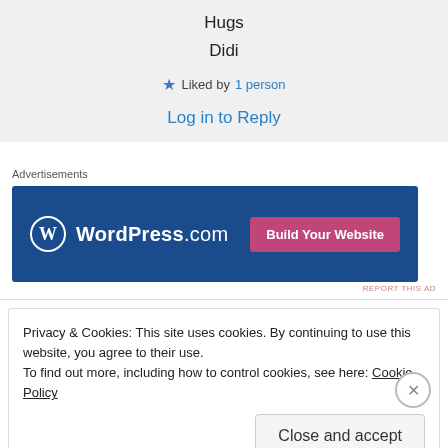Hugs
Didi
★ Liked by 1 person
Log in to Reply
Advertisements
[Figure (other): WordPress.com banner advertisement with blue background, WordPress logo on left, and pink 'Build Your Website' button on right]
REPORT THIS AD
Privacy & Cookies: This site uses cookies. By continuing to use this website, you agree to their use.
To find out more, including how to control cookies, see here: Cookie Policy
Close and accept